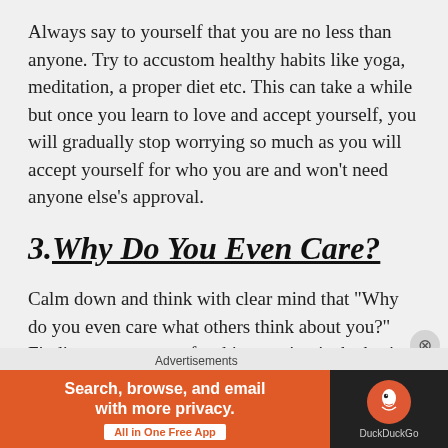Always say to yourself that you are no less than anyone. Try to accustom healthy habits like yoga, meditation, a proper diet etc. This can take a while but once you learn to love and accept yourself, you will gradually stop worrying so much as you will accept yourself for who you are and won't need anyone else's approval.
3. Why Do You Even Care?
Calm down and think with clear mind that "Why do you even care what others think about you?" Finding your answer for this question is the basic step to overcome your fears. You need to accept that it is not your fault or that there is anything wrong with you, it is the society
[Figure (other): DuckDuckGo advertisement banner with orange background reading 'Search, browse, and email with more privacy. All in One Free App' and DuckDuckGo logo on dark background]
Advertisements